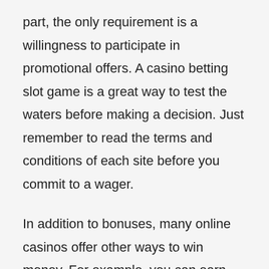part, the only requirement is a willingness to participate in promotional offers. A casino betting slot game is a great way to test the waters before making a decision. Just remember to read the terms and conditions of each site before you commit to a wager.
In addition to bonuses, many online casinos offer other ways to win money. For example, you can earn points and climb the ladder of a casino if you play real money games. This is a great opportunity for you to increase your bankroll. You can even earn rewards through the casino's